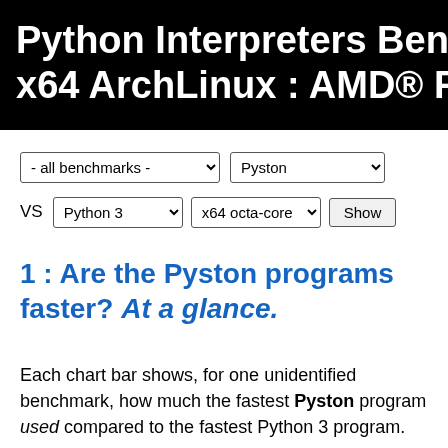Python Interpreters Bench x64 ArchLinux : AMD® Ry
[Figure (screenshot): Dropdown controls: a benchmark selector showing '- all benchmarks -', an interpreter selector showing 'Pyston', a VS label, a Python 3 dropdown, an x64 octa-core dropdown, and a Show button]
1 : Are the Pyston programs faster? At a glance.
Each chart bar shows, for one unidentified benchmark, how much the fastest Pyston program used compared to the fastest Python 3 program.